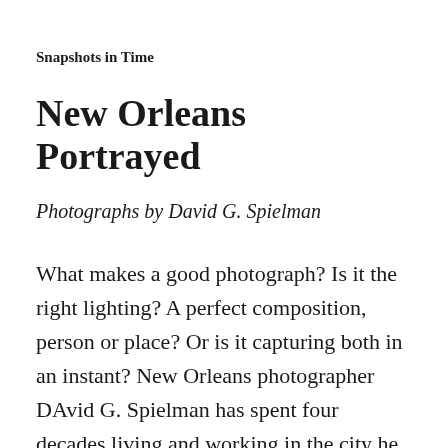Snapshots in Time
New Orleans Portrayed
Photographs by David G. Spielman
What makes a good photograph? Is it the right lighting? A perfect composition, person or place? Or is it capturing both in an instant? New Orleans photographer DAvid G. Spielman has spent four decades living and working in the city he calls home, capturing those instants with the interesting people and